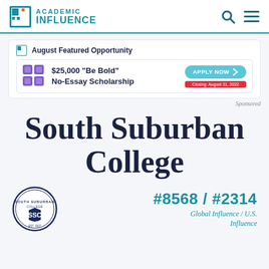[Figure (logo): Academic Influence logo with teal geometric icon and text 'ACADEMIC INFLUENCE']
[Figure (infographic): August Featured Opportunity banner: $25,000 'Be Bold' No-Essay Scholarship with Apply Now button and Closing: August 31, 2022 tag]
Sponsored
South Suburban College
[Figure (logo): South Suburban College (SSC) circular seal/logo]
#8568 / #2314
Global Influence / U.S. Influence